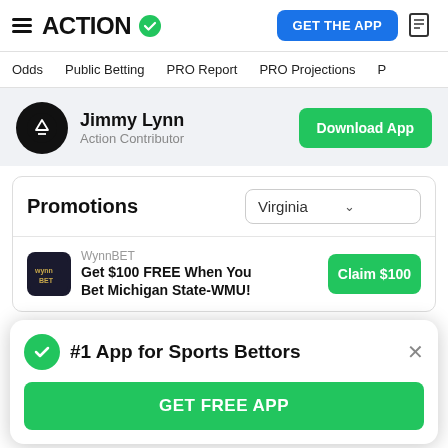ACTION — GET THE APP
Odds | Public Betting | PRO Report | PRO Projections
Jimmy Lynn — Action Contributor — Download App
Promotions — Virginia
WynnBET — Get $100 FREE When You Bet Michigan State-WMU! — Claim $100
#1 App for Sports Bettors — GET FREE APP
FanDuel